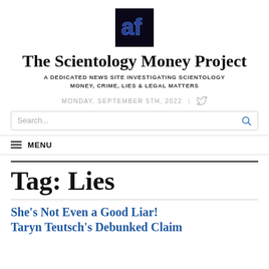[Figure (logo): Dark square logo with stylized letters 'af' in blue/purple on black background]
The Scientology Money Project
A DEDICATED NEWS SITE INVESTIGATING SCIENTOLOGY MONEY, CRIME, LIES & LEGAL MATTERS
MONDAY, SEPTEMBER 5TH, 2022
Search...
MENU
Tag: Lies
She's Not Even a Good Liar! Taryn Teutsch's Debunked Claim